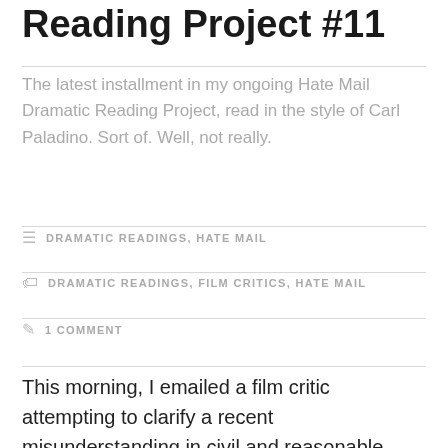Reading Project #11
The latest installment in my ongoing Hate Mail Dramatic Reading Project, read in the style of Carl Paladino. Sort of. Well, not really.
DRAMATIC READINGS, HATE MAIL
DRAMATIC READINGS, FILM CRITICS, HATE MAIL
1 COMMENT
This morning, I emailed a film critic attempting to clarify a recent misunderstanding in civil and reasonable terms. This film critic accused me of being unprofessional, yet, as I pointed out to him,